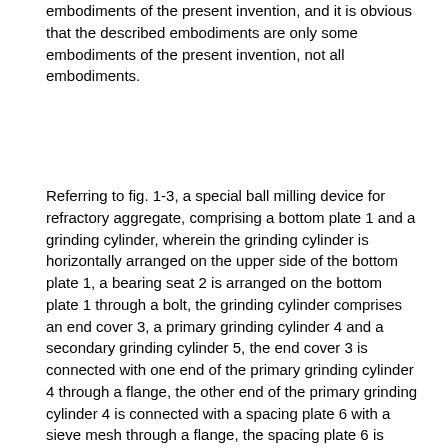embodiments of the present invention, and it is obvious that the described embodiments are only some embodiments of the present invention, not all embodiments.
Referring to fig. 1-3, a special ball milling device for refractory aggregate, comprising a bottom plate 1 and a grinding cylinder, wherein the grinding cylinder is horizontally arranged on the upper side of the bottom plate 1, a bearing seat 2 is arranged on the bottom plate 1 through a bolt, the grinding cylinder comprises an end cover 3, a primary grinding cylinder 4 and a secondary grinding cylinder 5, the end cover 3 is connected with one end of the primary grinding cylinder 4 through a flange, the other end of the primary grinding cylinder 4 is connected with a spacing plate 6 with a sieve mesh through a flange, the spacing plate 6 is connected with the secondary grinding cylinder 5 through a flange, coaxial rotating shafts are respectively welded on the outer sides of the end cover 3 and the secondary grinding cylinder 5, the rotating shafts are connected in the bearing seat 2 through bearings, the primary grinding cylinder 4 is communicated with a feeding pipe 10, the secondary grinding cylinder 5 is